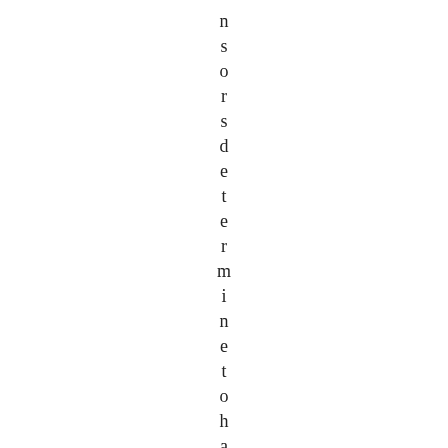n s o r s d e t e r m i n e t o h a v e t h e